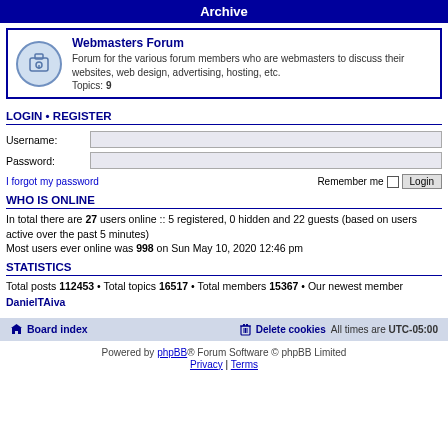Archive
Webmasters Forum
Forum for the various forum members who are webmasters to discuss their websites, web design, advertising, hosting, etc.
Topics: 9
LOGIN • REGISTER
Username:
Password:
I forgot my password    Remember me  Login
WHO IS ONLINE
In total there are 27 users online :: 5 registered, 0 hidden and 22 guests (based on users active over the past 5 minutes)
Most users ever online was 998 on Sun May 10, 2020 12:46 pm
STATISTICS
Total posts 112453 • Total topics 16517 • Total members 15367 • Our newest member DanielTAiva
Board index    Delete cookies   All times are UTC-05:00
Powered by phpBB® Forum Software © phpBB Limited
Privacy | Terms